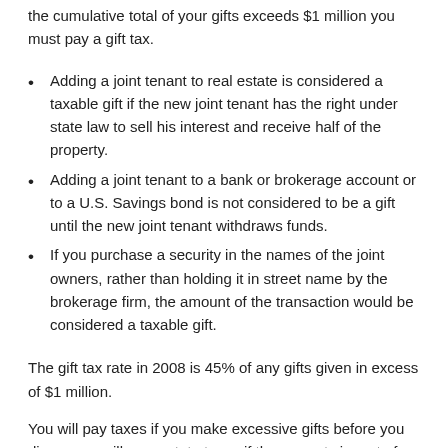the cumulative total of your gifts exceeds $1 million you must pay a gift tax.
Adding a joint tenant to real estate is considered a taxable gift if the new joint tenant has the right under state law to sell his interest and receive half of the property.
Adding a joint tenant to a bank or brokerage account or to a U.S. Savings bond is not considered to be a gift until the new joint tenant withdraws funds.
If you purchase a security in the names of the joint owners, rather than holding it in street name by the brokerage firm, the amount of the transaction would be considered a taxable gift.
The gift tax rate in 2008 is 45% of any gifts given in excess of $1 million.
You will pay taxes if you make excessive gifts before you die, or you will owe estate taxes if the property is part of your taxable